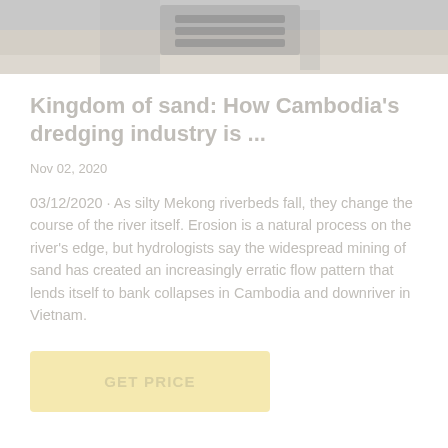[Figure (photo): Partial photograph of dredging equipment or sand/gravel scene, shown cropped at top of page.]
Kingdom of sand: How Cambodia's dredging industry is ...
Nov 02, 2020
03/12/2020 · As silty Mekong riverbeds fall, they change the course of the river itself. Erosion is a natural process on the river's edge, but hydrologists say the widespread mining of sand has created an increasingly erratic flow pattern that lends itself to bank collapses in Cambodia and downriver in Vietnam.
GET PRICE